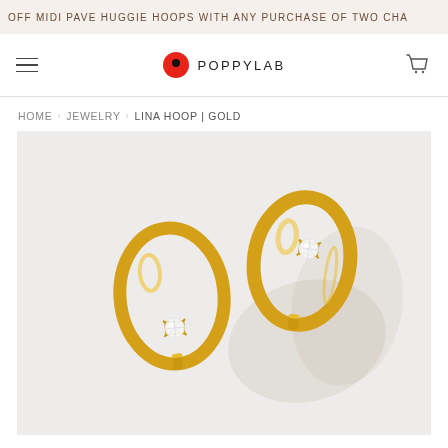OFF MIDI PAVE HUGGIE HOOPS WITH ANY PURCHASE OF TWO CHA
POPPYLAB
HOME › JEWELRY › LINA HOOP | GOLD
[Figure (photo): Two gold huggie hoop earrings with diamond crystal star-prong centerpiece, photographed on a light grey background with soft shadow.]